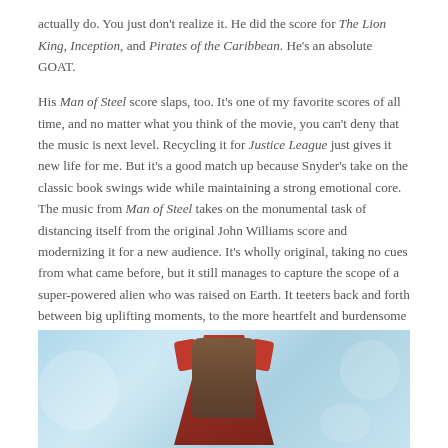actually do. You just don't realize it. He did the score for The Lion King, Inception, and Pirates of the Caribbean. He's an absolute GOAT.

His Man of Steel score slaps, too. It's one of my favorite scores of all time, and no matter what you think of the movie, you can't deny that the music is next level. Recycling it for Justice League just gives it new life for me. But it's a good match up because Snyder's take on the classic book swings wide while maintaining a strong emotional core. The music from Man of Steel takes on the monumental task of distancing itself from the original John Williams score and modernizing it for a new audience. It's wholly original, taking no cues from what came before, but it still manages to capture the scope of a super-powered alien who was raised on Earth. It teeters back and forth between big uplifting moments, to the more heartfelt and burdensome ones. It's perfect for one of DC's flagship books.
[Figure (illustration): Comic book illustration of a Superman/superhero figure in red and brown armor against a swirling light blue background, shown from approximately chest level up]